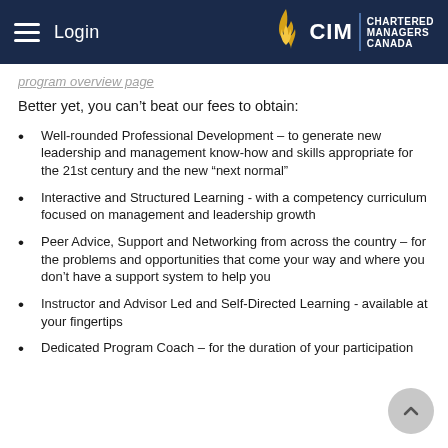Login | CIM Chartered Managers Canada
Better yet, you can't beat our fees to obtain:
Well-rounded Professional Development – to generate new leadership and management know-how and skills appropriate for the 21st century and the new “next normal”
Interactive and Structured Learning - with a competency curriculum focused on management and leadership growth
Peer Advice, Support and Networking from across the country – for the problems and opportunities that come your way and where you don't have a support system to help you
Instructor and Advisor Led and Self-Directed Learning - available at your fingertips
Dedicated Program Coach – for the duration of your participation